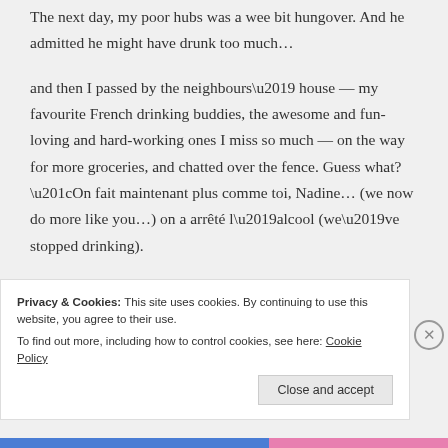The next day, my poor hubs was a wee bit hungover. And he admitted he might have drunk too much…
and then I passed by the neighbours’ house — my favourite French drinking buddies, the awesome and fun-loving and hard-working ones I miss so much — on the way for more groceries, and chatted over the fence. Guess what? “On fait maintenant plus comme toi, Nadine… (we now do more like you…) on a arrêté l’alcool (we’ve stopped drinking).
I wish I could round this off neatly but have to run.
Privacy & Cookies: This site uses cookies. By continuing to use this website, you agree to their use.
To find out more, including how to control cookies, see here: Cookie Policy
Close and accept